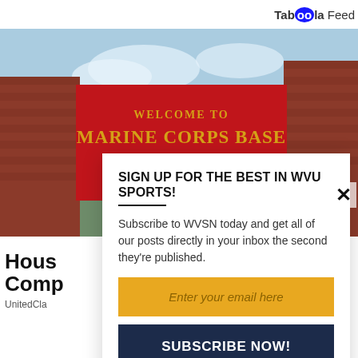Taboola Feed
[Figure (photo): Welcome to Marine Corps Base Camp Lejeune sign on brick pillars against a blue sky background]
SIGN UP FOR THE BEST IN WVU SPORTS!
Subscribe to WVSN today and get all of our posts directly in your inbox the second they're published.
Enter your email here
SUBSCRIBE NOW!
We respect your privacy and will never sell your info
Hous Comp UnitedCla